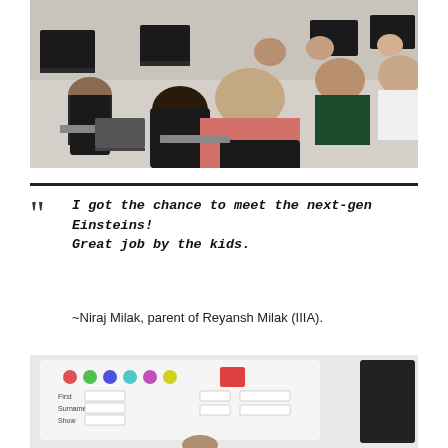[Figure (photo): Students and adults sitting at computers in a classroom or lab setting, viewed from behind, with multiple monitors visible.]
I got the chance to meet the next-gen Einsteins! Great job by the kids.
~Niraj Milak, parent of Reyansh Milak (IIIA).
[Figure (photo): Close-up of a whiteboard or tablet screen showing a colorful app interface with colored dots and form fields.]